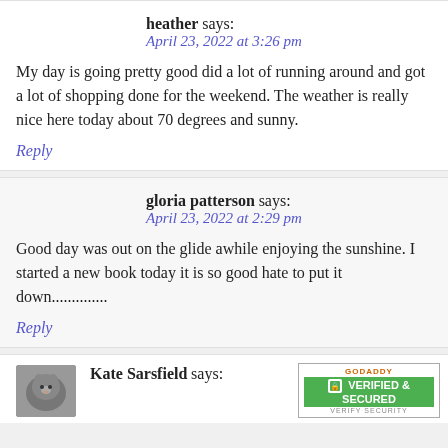heather says:
April 23, 2022 at 3:26 pm

My day is going pretty good did a lot of running around and got a lot of shopping done for the weekend. The weather is really nice here today about 70 degrees and sunny.
Reply
gloria patterson says:
April 23, 2022 at 2:29 pm

Good day was out on the glide awhile enjoying the sunshine. I started a new book today it is so good hate to put it down..............
Reply
Kate Sarsfield says: